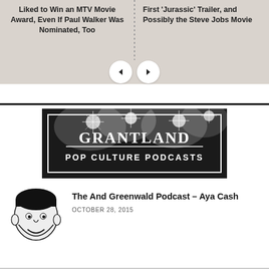Liked to Win an MTV Movie Award, Even If Paul Walker Was Nominated, Too
First 'Jurassic' Trailer, and Possibly the Steve Jobs Movie
[Figure (illustration): Grantland Pop Culture Podcasts banner image with crowd and lights in background, white border frame, text GRANTLAND in large serif letters, POP CULTURE PODCASTS in smaller capitals]
[Figure (illustration): Black and white cartoon portrait illustration of a man's face, smiling]
The And Greenwald Podcast – Aya Cash
OCTOBER 28, 2015